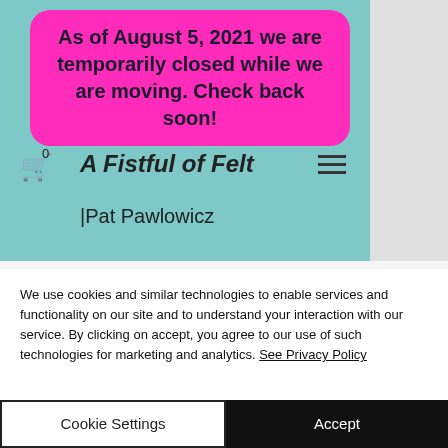As of August 5, 2021 we are temporarily closed while we are moving. Check back soon!
A Fistful of Felt
|Pat Pawlowicz
We use cookies and similar technologies to enable services and functionality on our site and to understand your interaction with our service. By clicking on accept, you agree to our use of such technologies for marketing and analytics. See Privacy Policy